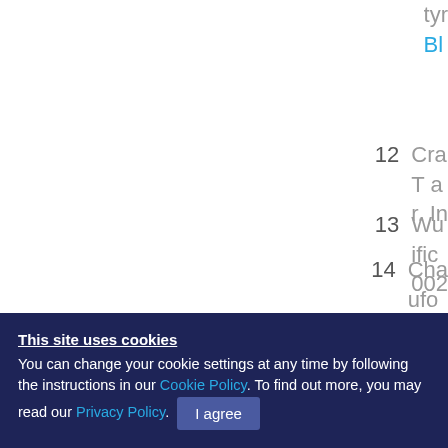tyr... Bl...
12  Cra... T a... r. In...
13  Wu... ific... 002...
14  Cha... ufo... 7. 1...
This site uses cookies
You can change your cookie settings at any time by following the instructions in our Cookie Policy. To find out more, you may read our Privacy Policy. I agree